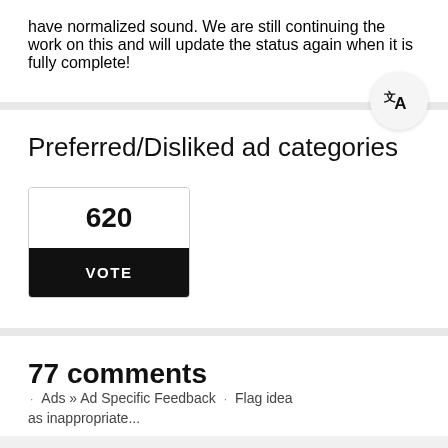have normalized sound. We are still continuing the work on this and will update the status again when it is fully complete!
Preferred/Disliked ad categories
620
VOTE
77 comments · Ads » Ad Specific Feedback · Flag idea as inappropriate...